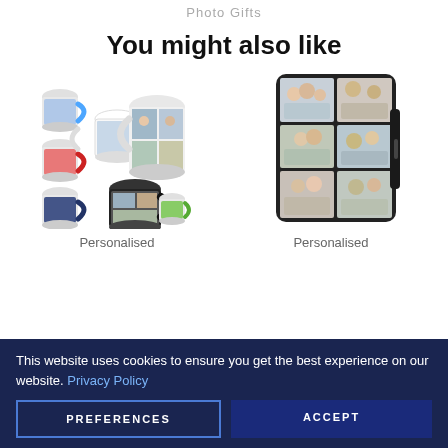Photo Gifts
You might also like
[Figure (photo): Collection of personalised photo mugs in various colors (blue, red, dark blue, green, pink) with family/group photos, including a large mug with family collage photo and a black magic mug with photo collage]
Personalised
[Figure (photo): Personalised phone wallet/flip case with a 6-photo family collage on the front, dark frame, showing various family photos]
Personalised
This website uses cookies to ensure you get the best experience on our website. Privacy Policy
PREFERENCES
ACCEPT